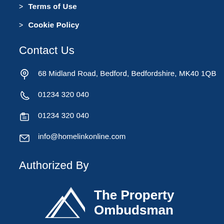Terms of Use
Cookie Policy
Contact Us
68 Midland Road, Bedford, Bedfordshire, MK40 1QB
01234 320 040
01234 320 040
info@homelinkonline.com
Authorized By
[Figure (logo): The Property Ombudsman logo with white mountain/house icon and bold white text]